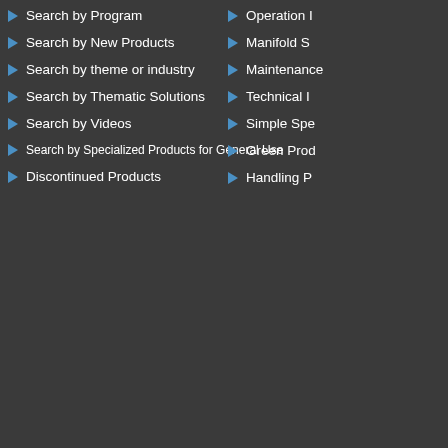Search by Program
Search by New Products
Search by theme or industry
Search by Thematic Solutions
Search by Videos
Search by Specialized Products for General Use
Discontinued Products
Operation I
Manifold S
Maintenance
Technical I
Simple Spe
Green Prod
Handling P